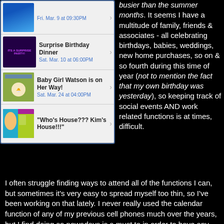[Figure (screenshot): Mobile app screenshot showing event list items: 'Fri. Mar. 9 at 09:30PM', 'Surprise Birthday Dinner - Sat. Mar. 10 at 06:00PM', 'Baby Girl Watson is on Her Way! - Sat. Mar. 24 at 04:00PM', 'Who's House??? Kim's House!!!']
busier than the summer months. It seems I have a multitude of family, friends & associates - all celebrating birthdays, babies, weddings, new home purchases, so on & so fourth during this time of year (not to mention the fact that my own birthday was yesterday), so keeping track of social events AND work related functions is at times, difficult.
I often struggle finding ways to attend all of the functions I can, but sometimes it's very easy to spread myself too thin, so I've been working on that lately. I never really used the calendar function of any of my previous cell phones much over the years, but I find doing so nowadays is a must to in order to have any shot at keeping my professional/social life